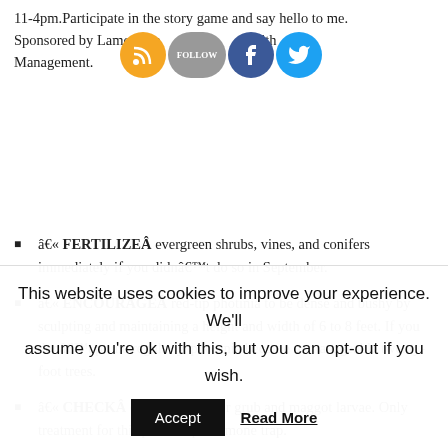11-4pm. Participate in the story game and say hello to me. Sponsored by Lamorinda [social icons] Health Management.
[Figure (other): Social media icons: RSS (orange), Follow (gray), Facebook (blue), Twitter (blue)]
â« FERTILIZE evergreen shrubs, vines, and conifers immediately if you didnât do so in September.
â« ENCOURAGE red-tip photinia to be dense and bushy by sculpting and maintaining a height and width of 6 to 8 feet. If you donât prune regularly, photonia become unmanageable twenty-foot trees.
â« CHECK olive harvests for grub and maggot larvae. Only treatment for this pest is a pheromone trap.
This website uses cookies to improve your experience. We'll assume you're ok with this, but you can opt-out if you wish.
Accept   Read More